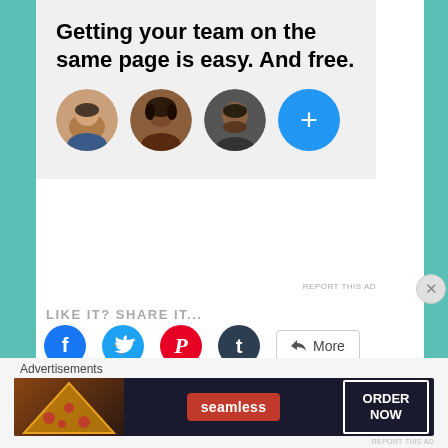[Figure (infographic): Advertisement banner with gray background. Large bold text: 'Getting your team on the same page is easy. And free.' Below are four circular avatars: three profile photos and one blue circle with a plus sign.]
REPORT THIS AD
LIKE IT? SHARE IT...
[Figure (infographic): Social sharing buttons row: Facebook (blue circle with f icon), Twitter (cyan circle with bird icon), Pinterest (red circle with P icon), Tumblr (dark circle with t icon), and a 'More' button with share icon.]
Loading...
Advertisements
[Figure (infographic): Advertisement banner for Seamless food delivery. Dark background with pizza image on left, Seamless brand name in red pill, and 'ORDER NOW' in white bordered box on right.]